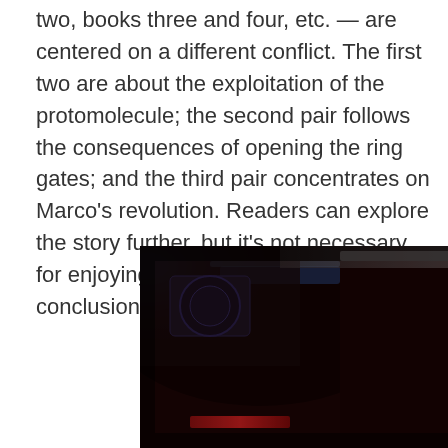two, books three and four, etc. — are centered on a different conflict. The first two are about the exploitation of the protomolecule; the second pair follows the consequences of opening the ring gates; and the third pair concentrates on Marco's revolution. Readers can explore the story further, but it's not necessary for enjoying the show and its conclusion.
[Figure (photo): A person (young man) lit with red dramatic lighting, sitting in what appears to be a spacecraft cockpit or control room with equipment visible in the background. Dark, atmospheric sci-fi scene.]